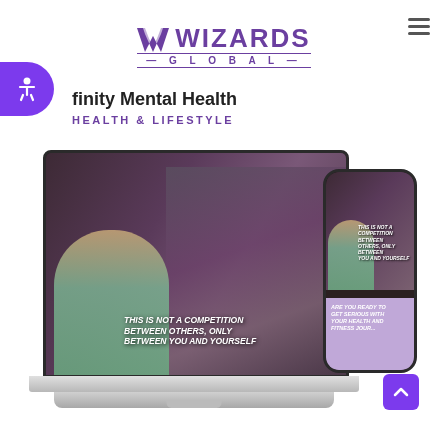[Figure (logo): Wizards Global logo with W chevron mark in purple and text WIZARDS GLOBAL]
[Figure (screenshot): Website mockup shown on laptop and mobile phone. Laptop shows a fitness/health website hero with a woman in yoga pose against graffiti wall, text reads THIS IS NOT A COMPETITION BETWEEN OTHERS, ONLY BETWEEN YOU AND YOURSELF. Mobile phone shows same site with additional purple CTA box: ARE YOU READY TO GET SERIOUS WITH YOUR HEALTH AND FITNESS JOUR...]
Infinity Mental Health
HEALTH & LIFESTYLE